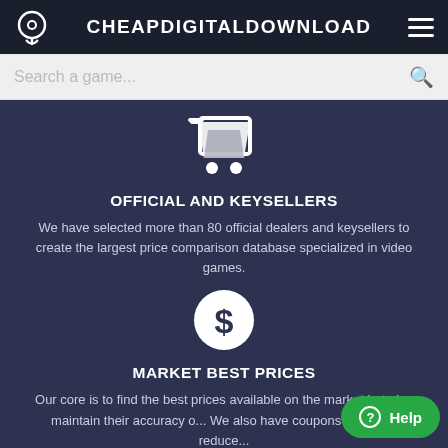CHEAPDIGITALDOWNLOAD
Search a game...
[Figure (illustration): Shopping cart icon in white outline style on dark blue background]
OFFICIAL AND KEYSELLERS
We have selected more than 80 official dealers and keysellers to create the largest price comparison database specialized in video games.
[Figure (illustration): Dollar sign inside a white circle icon on dark blue background]
MARKET BEST PRICES
Our core is to find the best prices available on the market but also maintain their accuracy o... We also have coupons to further reduce...